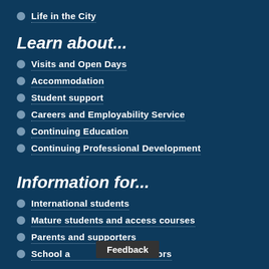Life in the City
Learn about...
Visits and Open Days
Accommodation
Student support
Careers and Employability Service
Continuing Education
Continuing Professional Development
Information for...
International students
Mature students and access courses
Parents and supporters
School a[nd] advisors